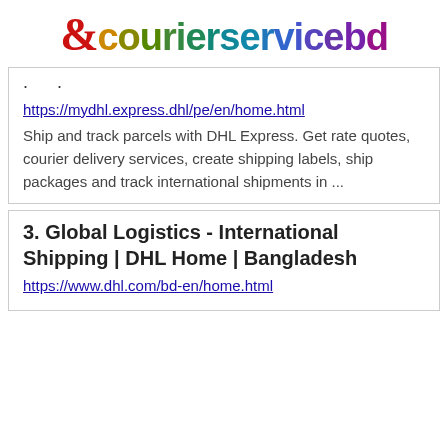[Figure (logo): Ecourierservicebd logo with large red stylized E followed by colorful gradient text 'courierservicebd']
https://mydhl.express.dhl/pe/en/home.html
Ship and track parcels with DHL Express. Get rate quotes, courier delivery services, create shipping labels, ship packages and track international shipments in ...
3. Global Logistics - International Shipping | DHL Home | Bangladesh
https://www.dhl.com/bd-en/home.html